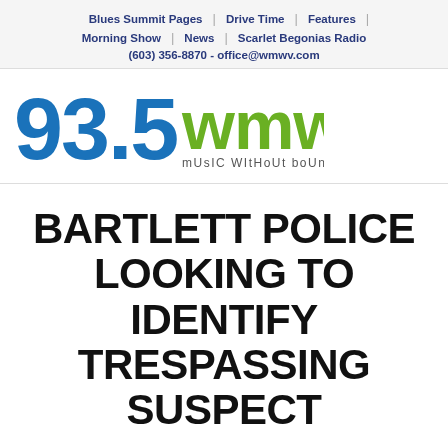Blues Summit Pages | Drive Time | Features | Morning Show | News | Scarlet Begonias Radio | (603) 356-8870 - office@wmwv.com
[Figure (logo): 93.5 WMWV radio station logo with tagline 'mUsIC WItHoUt boUnDarIeS']
BARTLETT POLICE LOOKING TO IDENTIFY TRESPASSING SUSPECT